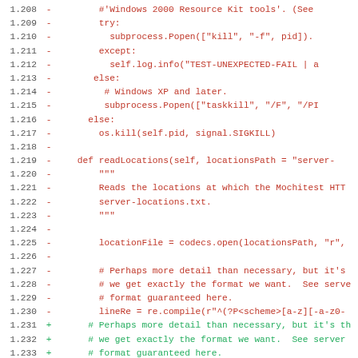Code diff showing lines 1.208 to 1.239 of a Python source file, with removed lines (red, marked -) and added lines (green, marked +). Content includes subprocess.Popen calls, readLocations method definition, and lineRe re.compile regex construction.